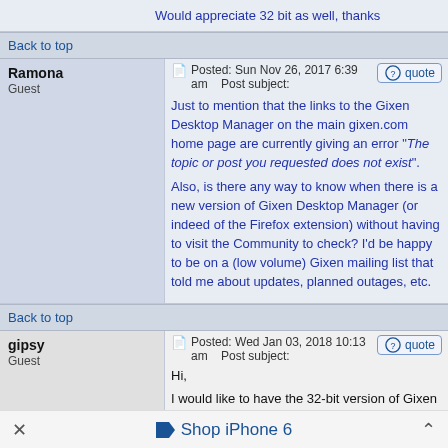Would appreciate 32 bit as well, thanks
Back to top
Ramona
Guest
Posted: Sun Nov 26, 2017 6:39 am   Post subject:
Just to mention that the links to the Gixen Desktop Manager on the main gixen.com home page are currently giving an error "The topic or post you requested does not exist".

Also, is there any way to know when there is a new version of Gixen Desktop Manager (or indeed of the Firefox extension) without having to visit the Community to check? I'd be happy to be on a (low volume) Gixen mailing list that told me about updates, planned outages, etc.
Back to top
gipsy
Guest
Posted: Wed Jan 03, 2018 10:13 am   Post subject:
Hi,
I would like to have the 32-bit version of Gixen Desktop Manager.
I know that the future is at 64 bits, for questions of
Shop iPhone 6